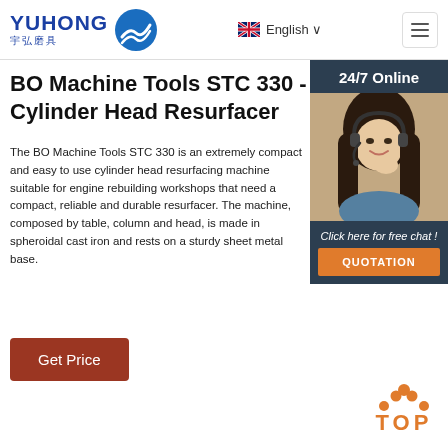[Figure (logo): Yuhong logo with blue wave graphic and Chinese characters 宇弘磨具]
English
BO Machine Tools STC 330 - Cylinder Head Resurfacer
The BO Machine Tools STC 330 is an extremely compact and easy to use cylinder head resurfacing machine suitable for engine rebuilding workshops that need a compact, reliable and durable resurfacer. The machine, composed by table, column and head, is made in spheroidal cast iron and rests on a sturdy sheet metal base.
[Figure (photo): 24/7 Online customer service representative - woman with headset, smiling]
Click here for free chat !
QUOTATION
Get Price
[Figure (other): TOP button with orange dots and orange TOP text]